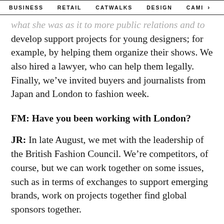BUSINESS   RETAIL   CATWALKS   DESIGN   CAMI  >
...what she was as it to more public relations and to develop support projects for young designers; for example, by helping them organize their shows. We also hired a lawyer, who can help them legally. Finally, we've invited buyers and journalists from Japan and London to fashion week.
FM: Have you been working with London?
JR: In late August, we met with the leadership of the British Fashion Council. We're competitors, of course, but we can work together on some issues, such as in terms of exchanges to support emerging brands, work on projects together find global sponsors together.